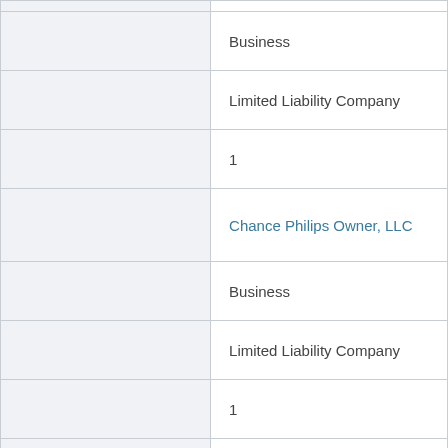|  | Business |
|  | Limited Liability Company |
|  | 1 |
|  | Chance Philips Owner, LLC |
|  | Business |
|  | Limited Liability Company |
|  | 1 |
|  | CRP/Chance SMP Owner, L.L.C. |
|  | Business |
|  | Limited Liability Company |
|  | 1 |